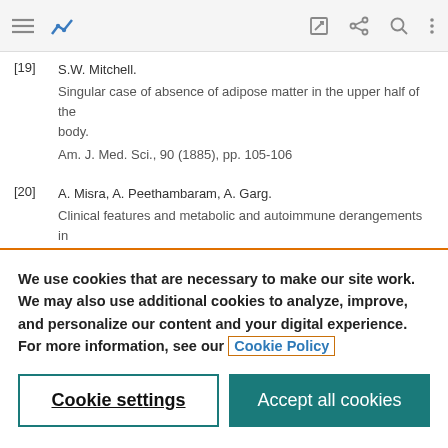Navigation bar with menu, logo, and action icons
[19] S.W. Mitchell.
Singular case of absence of adipose matter in the upper half of the body.
Am. J. Med. Sci., 90 (1885), pp. 105-106
[20] A. Misra, A. Peethambaram, A. Garg.
Clinical features and metabolic and autoimmune derangements in
We use cookies that are necessary to make our site work. We may also use additional cookies to analyze, improve, and personalize our content and your digital experience. For more information, see our Cookie Policy
Cookie settings | Accept all cookies